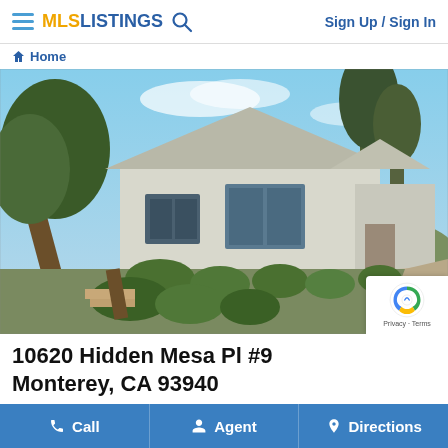MLS LISTINGS — Sign Up / Sign In
Home
[Figure (photo): Exterior photo of a single-story white/grey ranch-style house with green landscaping, trees, and a concrete driveway. Photo counter shows 1/1.]
10620 Hidden Mesa Pl #9
Monterey, CA 93940
Call   Agent   Directions